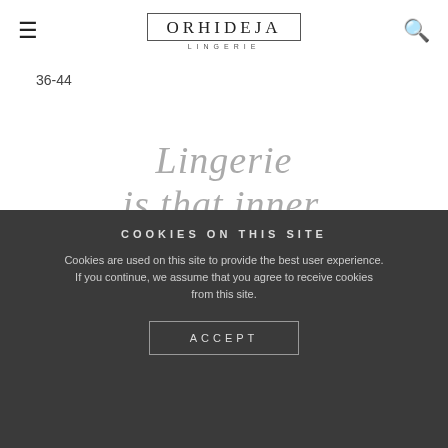ORHIDEJA LINGERIE
36-44
[Figure (illustration): Decorative cursive script text reading: Lingerie is that inner, secret glamour.]
COOKIES ON THIS SITE
Cookies are used on this site to provide the best user experience. If you continue, we assume that you agree to receive cookies from this site.
ACCEPT